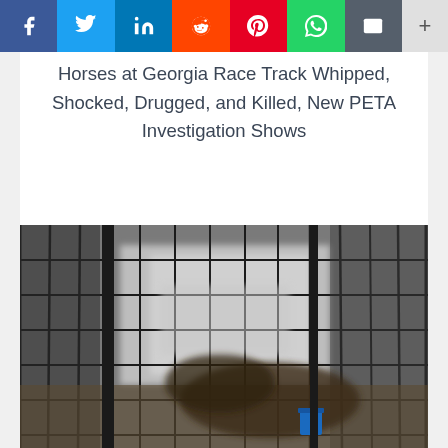Social share bar: Facebook, Twitter, LinkedIn, Reddit, Pinterest, WhatsApp, Email, More
Horses at Georgia Race Track Whipped, Shocked, Drugged, and Killed, New PETA Investigation Shows
[Figure (photo): Blurry photograph of horses inside a wire/metal cage or stall structure at a race track facility, with a blue bucket visible in the background.]